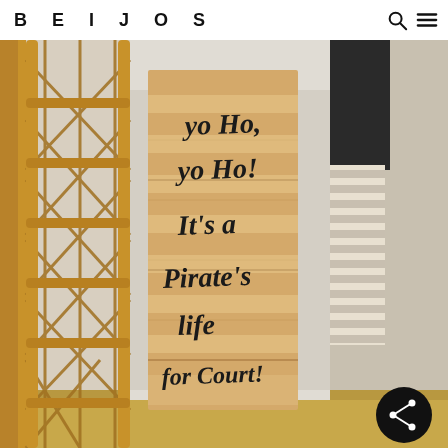BEIJOS
[Figure (photo): A wooden sign with calligraphy text reading 'yo Ho, yo Ho! It's a Pirate's life for Court!' leaning against a wall, next to a rattan/bamboo chair structure, with striped blinds in the background. A dark circular share button is visible in the bottom right corner.]